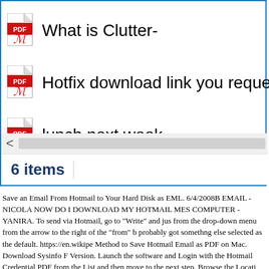What is Clutter-
Hotfix download link you request
lunch next week-
6 items
Save an Email From Hotmail to Your Hard Disk as EML. 6/4/2008B EMAIL - NICOLA NOW DO I DOWNLOAD MY HOTMAIL MES COMPUTER - YANIRA. To send via Hotmail, go to "Write" and jus from the drop-down menu from the arrow to the right of the "from" b probably got somethng else selected as the default. https://en.wikipe Method to Save Hotmail Email as PDF on Mac. Download Sysinfo F Version. Launch the software and Login with the Hotmail Credential PDF from the List and then move to the next step. Browse the Locati